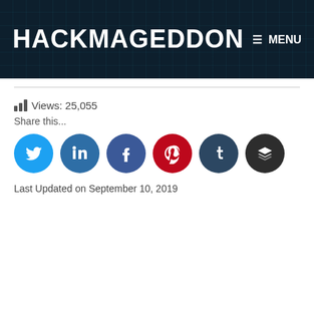HACKMAGEDDON   ≡  MENU
Views: 25,055
Share this...
[Figure (other): Six social media share buttons: Twitter (blue), LinkedIn (blue), Facebook (dark blue), Pinterest (red), Tumblr (dark navy), Buffer (dark grey)]
Last Updated on September 10, 2019